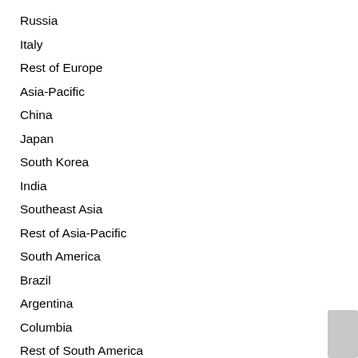Russia
Italy
Rest of Europe
Asia-Pacific
China
Japan
South Korea
India
Southeast Asia
Rest of Asia-Pacific
South America
Brazil
Argentina
Columbia
Rest of South America
Middle East and Africa
Saudi Arabia
UAE